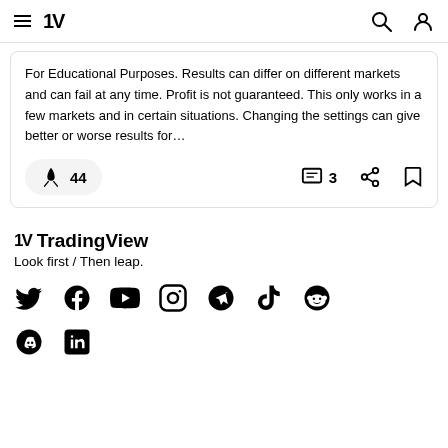TradingView navigation header
For Educational Purposes. Results can differ on different markets and can fail at any time. Profit is not guaranteed. This only works in a few markets and in certain situations. Changing the settings can give better or worse results for…
🚀 44    💬 3    share    bookmark
TV TradingView
Look first / Then leap.
[Figure (illustration): Social media icons row: Twitter, Facebook, YouTube, Instagram, Telegram, TikTok, Reddit]
[Figure (illustration): Social media icons row 2: Discord, LinkedIn]